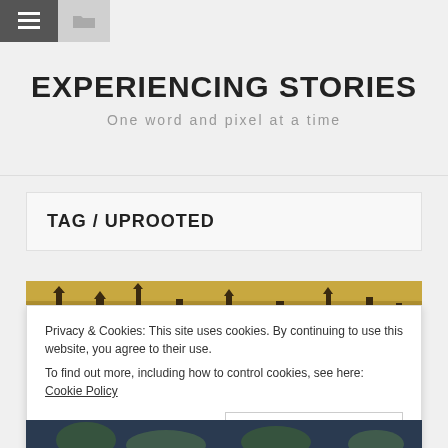≡  🗀
EXPERIENCING STORIES
One word and pixel at a time
TAG / UPROOTED
[Figure (photo): A panoramic painting strip showing dark silhouettes of towers/buildings against a golden-brown background]
Privacy & Cookies: This site uses cookies. By continuing to use this website, you agree to their use.
To find out more, including how to control cookies, see here: Cookie Policy
Close and accept
[Figure (photo): Bottom portion of a colorful painting visible beneath the cookie notice]